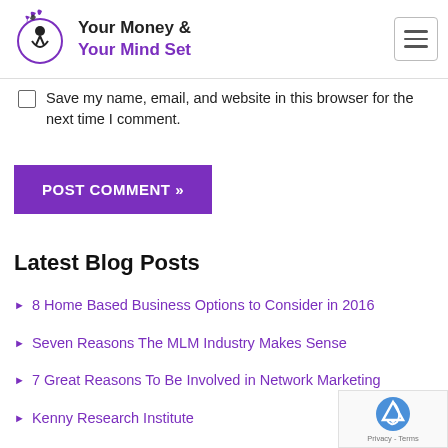Your Money & Your Mind Set
Save my name, email, and website in this browser for the next time I comment.
POST COMMENT »
Latest Blog Posts
8 Home Based Business Options to Consider in 2016
Seven Reasons The MLM Industry Makes Sense
7 Great Reasons To Be Involved in Network Marketing
Kenny Research Institute
Want A Better Return On Your Money? Use Women